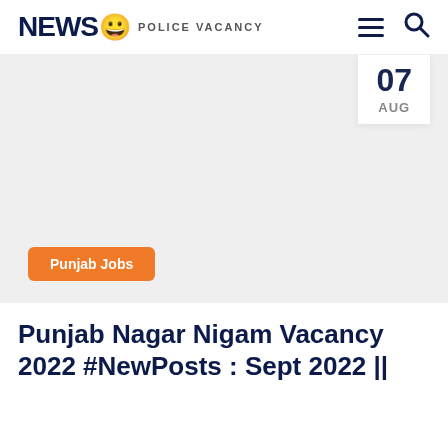NEWS 😀 POLICE VACANCY
[Figure (photo): Light gray placeholder image for a news article with a date badge showing 07 AUG in the top right and an orange Punjab Jobs category badge in the bottom left]
Punjab Nagar Nigam Vacancy 2022 #NewPosts : Sept 2022 ||